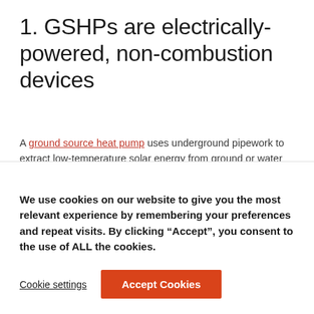1. GSHPs are electrically-powered, non-combustion devices
A ground source heat pump uses underground pipework to extract low-temperature solar energy from ground or water sources. It then compresses and upgrades this energy to a higher temperature when heating and hot water is needed in the home. The heat pump does not produce point-of-use emissions, helping to reduce a
We use cookies on our website to give you the most relevant experience by remembering your preferences and repeat visits. By clicking “Accept”, you consent to the use of ALL the cookies.
Cookie settings | Accept Cookies